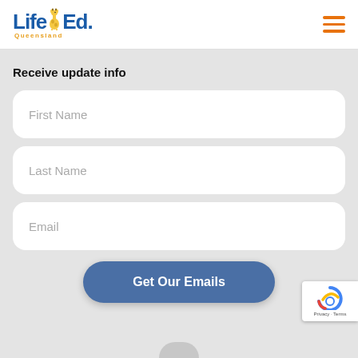Life Ed. Queensland
Receive update info
First Name
Last Name
Email
Get Our Emails